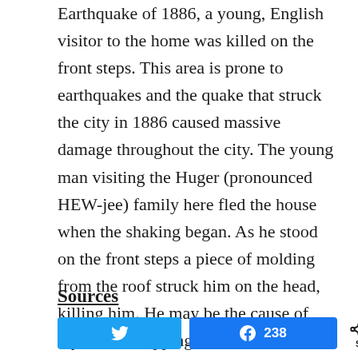Earthquake of 1886, a young, English visitor to the home was killed on the front steps. This area is prone to earthquakes and the quake that struck the city in 1886 caused massive damage throughout the city. The young man visiting the Huger (pronounced HEW-jee) family here fled the house when the shaking began. As he stood on the front steps a piece of molding from the roof struck him on the head, killing him. He may be the cause of mysterious rapping on the front door prior to earthquakes.
Sources